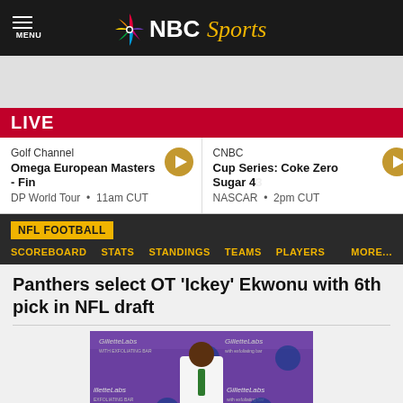NBC Sports
LIVE
Golf Channel
Omega European Masters - Final
DP World Tour • 11am CUT
CNBC
Cup Series: Coke Zero Sugar 4...
NASCAR • 2pm CUT
NFL FOOTBALL
SCOREBOARD   STATS   STANDINGS   TEAMS   PLAYERS   MORE...
Panthers select OT 'Ickey' Ekwonu with 6th pick in NFL draft
[Figure (photo): NFL Draft event photo showing a player in a white suit with green tie in front of Gillette Labs branded backdrop with NFL draft shield logos]